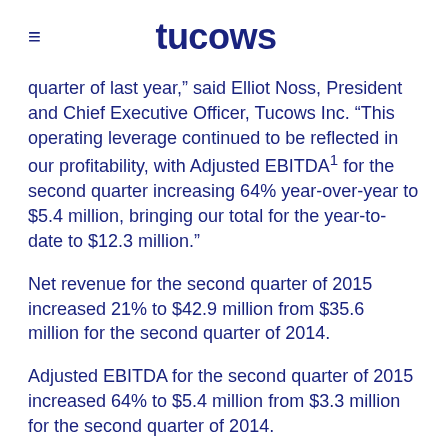tucows
quarter of last year," said Elliot Noss, President and Chief Executive Officer, Tucows Inc. “This operating leverage continued to be reflected in our profitability, with Adjusted EBITDA¹ for the second quarter increasing 64% year-over-year to $5.4 million, bringing our total for the year-to-date to $12.3 million.”
Net revenue for the second quarter of 2015 increased 21% to $42.9 million from $35.6 million for the second quarter of 2014.
Adjusted EBITDA for the second quarter of 2015 increased 64% to $5.4 million from $3.3 million for the second quarter of 2014.